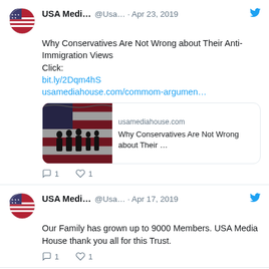[Figure (screenshot): Three Twitter/social media post cards from USA Media House account. First post dated Apr 23, 2019 about conservatives and anti-immigration views with link preview. Second post dated Apr 17, 2019 about 9000 members. Third post dated Mar 27, 2019 about staying out of reach of children.]